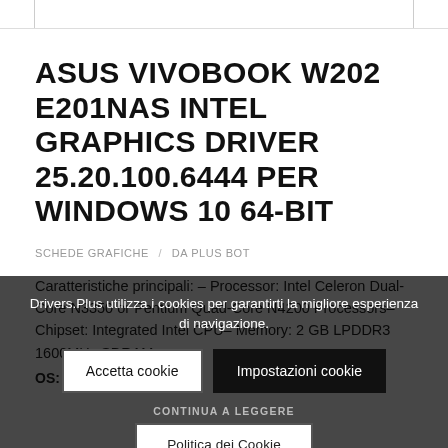ASUS VIVOBOOK W202 E201NAS INTEL GRAPHICS DRIVER 25.20.100.6444 PER WINDOWS 10 64-BIT
SCHEDE GRAFICHE / DA PLUS BOT
Caratteristiche principali: – Processor: Intel Celeron Dual-Core N3350 or Pentium Quad-Core N4200 Processors– Chipset: Integrated Intel CPU– Memory: 2 GB LPDDR3 1600MHz SDRAM – OS: Windows 10
Drivers.Plus utilizza i cookies per garantirti la migliore esperienza di navigazione.
Accetta cookie
Impostazioni cookie
CONTINUA A LEGGERE
Politica dei Cookie